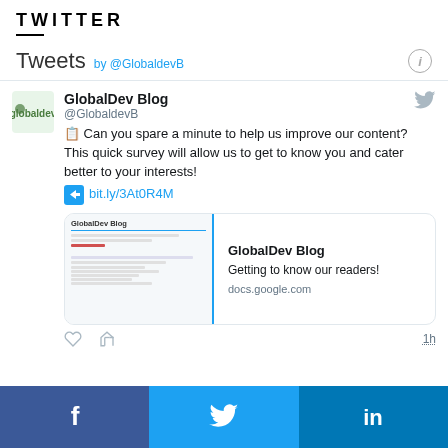TWITTER
Tweets by @GlobaldevB
GlobalDev Blog @GlobaldevB 📋 Can you spare a minute to help us improve our content?
This quick survey will allow us to get to know you and cater better to your interests!
➡ bit.ly/3At0R4M
[Figure (screenshot): Preview card for GlobalDev Blog survey - Getting to know our readers! docs.google.com]
1h
[Figure (infographic): Social media footer with Facebook, Twitter, and LinkedIn icons]